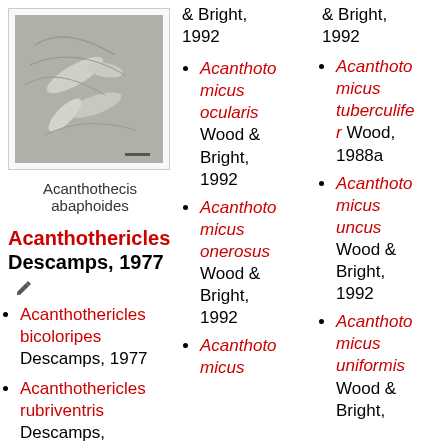[Figure (photo): Microscope image of Acanthothecis abaphoides fossil]
Acanthothecis abaphoides
Acanthothericles Descamps, 1977
Acanthothericles bicoloripes Descamps, 1977
Acanthothericles rubriventris Descamps,
Acanthothomicus ocularis Wood & Bright, 1992
Acanthothomicus onerosus Wood & Bright, 1992
Acanthothomicus
& Bright, 1992
Acanthothomicus tuberculifer Wood, 1988a
Acanthothomicus uncus Wood & Bright, 1992
Acanthothomicus uniformis Wood & Bright,